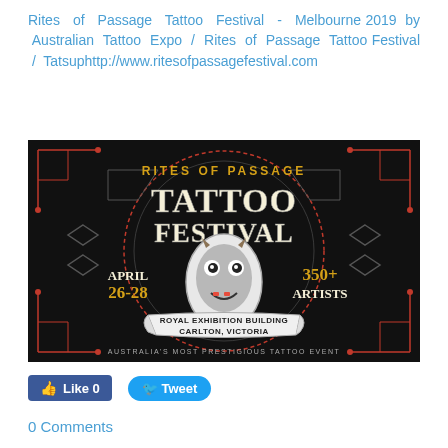Rites of Passage Tattoo Festival - Melbourne 2019 by Australian Tattoo Expo / Rites of Passage Tattoo Festival / Tatsuphttp://www.ritesofpassagefestival.com
[Figure (illustration): Event poster for Rites of Passage Tattoo Festival. Black background with orange and gold Art Deco geometric design. Large stylized text reads 'TATTOO FESTIVAL' with 'RITES OF PASSAGE' above. Center oval contains a demon/Hannya mask illustration. Text reads 'APRIL 26-28', '350+ ARTISTS', 'ROYAL EXHIBITION BUILDING CARLTON, VICTORIA', 'AUSTRALIA'S MOST PRESTIGIOUS TATTOO EVENT'.]
Like 0   Tweet
0 Comments